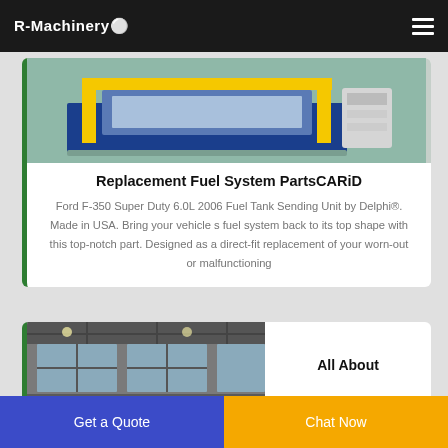R-Machinery
[Figure (photo): Industrial machine with yellow frame and blue components in a factory setting]
Replacement Fuel System PartsCARiD
Ford F-350 Super Duty 6.0L 2006 Fuel Tank Sending Unit by Delphi®. Made in USA. Bring your vehicle s fuel system back to its top shape with this top-notch part. Designed as a direct-fit replacement of your worn-out or malfunctioning
[Figure (photo): Industrial building interior with large windows and steel framing]
All About
Get a Quote
Chat Now